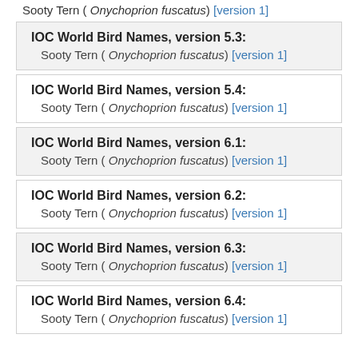Sooty Tern ( Onychoprion fuscatus) [version 1]
IOC World Bird Names, version 5.3:
Sooty Tern ( Onychoprion fuscatus) [version 1]
IOC World Bird Names, version 5.4:
Sooty Tern ( Onychoprion fuscatus) [version 1]
IOC World Bird Names, version 6.1:
Sooty Tern ( Onychoprion fuscatus) [version 1]
IOC World Bird Names, version 6.2:
Sooty Tern ( Onychoprion fuscatus) [version 1]
IOC World Bird Names, version 6.3:
Sooty Tern ( Onychoprion fuscatus) [version 1]
IOC World Bird Names, version 6.4:
Sooty Tern ( Onychoprion fuscatus) [version 1]